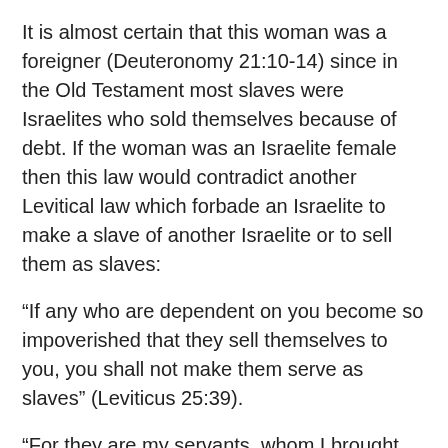It is almost certain that this woman was a foreigner (Deuteronomy 21:10-14) since in the Old Testament most slaves were Israelites who sold themselves because of debt. If the woman was an Israelite female then this law would contradict another Levitical law which forbade an Israelite to make a slave of another Israelite or to sell them as slaves:
“If any who are dependent on you become so impoverished that they sell themselves to you, you shall not make them serve as slaves” (Leviticus 25:39).
“For they are my servants, whom I brought out of the land of Egypt; they shall not be sold as slaves are sold” (Leviticus 25:42).
In the Old Testament, married people who commit adultery